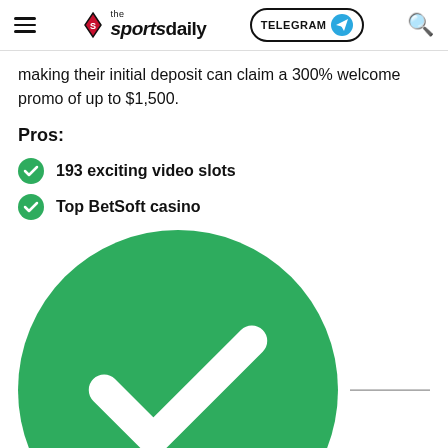the sportsdaily | TELEGRAM
making their initial deposit can claim a 300% welcome promo of up to $1,500.
Pros:
193 exciting video slots
Top BetSoft casino
(partially obscured)
(partially obscured)
(partially obscured)
Co (partially obscured - Cons section)
We use cookies to ensure that we give you the best experience on our website. If you continue to use this site we will assume that you are happy with it.
Learn more
Okay